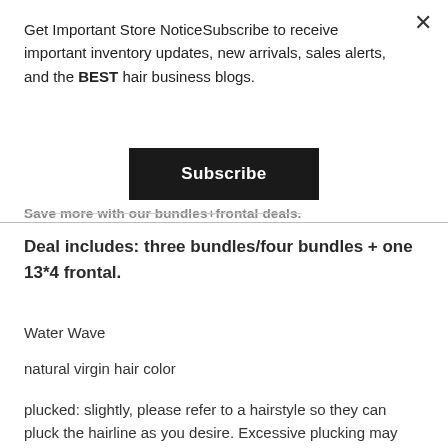Get Important Store NoticeSubscribe to receive important inventory updates, new arrivals, sales alerts, and the BEST hair business blogs.
Subscribe
Save more with our bundles+frontal deals.
Deal includes: three bundles/four bundles + one 13*4 frontal.
Water Wave
natural virgin hair color
plucked: slightly, please refer to a hairstyle so they can pluck the hairline as you desire. Excessive plucking may